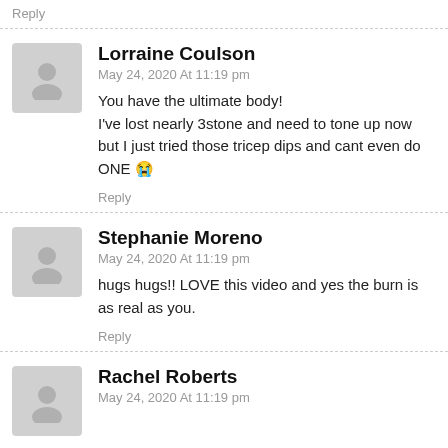Reply
Lorraine Coulson
May 24, 2020 At 11:19 pm
You have the ultimate body!
I've lost nearly 3stone and need to tone up now but I just tried those tricep dips and cant even do ONE 😭
Reply
Stephanie Moreno
May 24, 2020 At 11:19 pm
hugs hugs!! LOVE this video and yes the burn is as real as you.
Reply
Rachel Roberts
May 24, 2020 At 11:19 pm